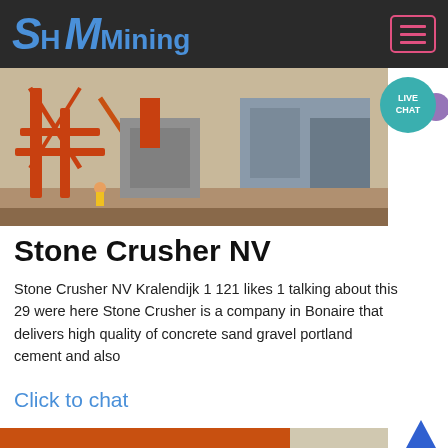SH MMining
[Figure (photo): Mining/crushing plant with orange metal structures, conveyor belts, and industrial buildings in the background]
[Figure (other): Live Chat bubble icon in teal/blue circle with speech bubble tail]
Stone Crusher NV
Stone Crusher NV Kralendijk 1 121 likes 1 talking about this 29 were here Stone Crusher is a company in Bonaire that delivers high quality of concrete sand gravel portland cement and also
Click to chat
[Figure (photo): Orange industrial crushing/mining machinery with cone-shaped components on a road]
[Figure (other): Blue upward arrow scroll-to-top button]